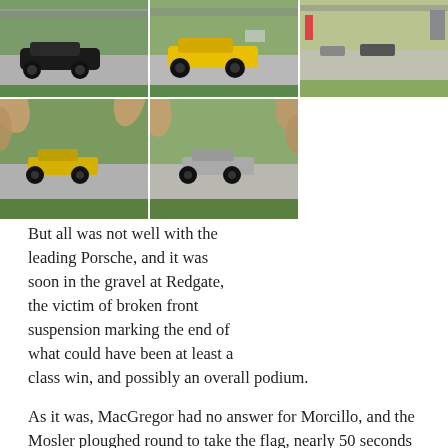[Figure (photo): Top row: three racing car photos on track. Bottom row: two celebration/finish photos with crowd hands visible.]
But all was not well with the leading Porsche, and it was soon in the gravel at Redgate, the victim of broken front suspension marking the end of what could have been at least a class win, and possibly an overall podium.

As it was, MacGregor had no answer for Morcillo, and the Mosler ploughed round to take the flag, nearly 50 seconds ahead of the Taranis. Charlie Hollings was safe in third, claiming Class 2 honours a lap down from the leading pair, but behind that was a race that wasn't quite over yet.

Mike Moss was up for a repeat of the Class 3 win of Race 1 in the unique BMW 1M started by Scot Adam, but slowed